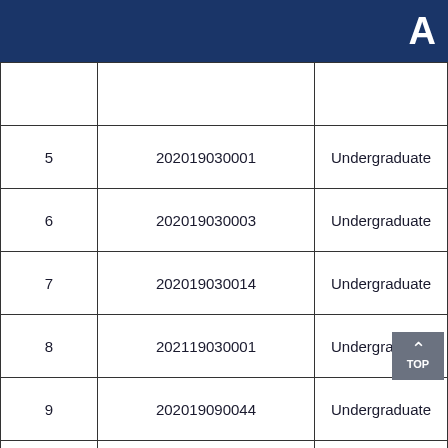A
| # | ID | Type |
| --- | --- | --- |
| 5 | 202019030001 | Undergraduate |
| 6 | 202019030003 | Undergraduate |
| 7 | 202019030014 | Undergraduate |
| 8 | 202119030001 | Undergraduate |
| 9 | 202019090044 | Undergraduate |
| 10 | 202019090002 | Undergraduate |
| 11 | 201919090047 | Undergraduate |
| 12 | 201919090048 | Undergraduate |
| 13 | 201919090011 | Undergraduate |